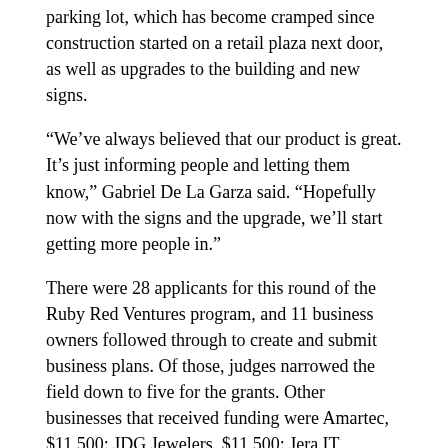parking lot, which has become cramped since construction started on a retail plaza next door, as well as upgrades to the building and new signs.
“We’ve always believed that our product is great. It’s just informing people and letting them know,” Gabriel De La Garza said. “Hopefully now with the signs and the upgrade, we’ll start getting more people in.”
There were 28 applicants for this round of the Ruby Red Ventures program, and 11 business owners followed through to create and submit business plans. Of those, judges narrowed the field down to five for the grants. Other businesses that received funding were Amartec, $11,500; JDG Jewelers, $11,500; Jera IT Training, $10,000; Joe's Pressure Washer, $7,000.
The owner of Joe’s Pressure Washer wasn’t at the meeting to accept his plaque, but Daniel Silva, who organizes the MEDC program, said Joe Ivenvera had a good reason. Ivenvera washes trucks for H-E-B and the grocery store contracted him to expand to Laredo and Eagle Pass. Through the Ruby Red Ventures program, Ivenvera was able to get the capital to meet the new H-E-B demand. His son, Jose Ivenvera Jr., accepted the MEDC plaque for his father, and his father's plaque.